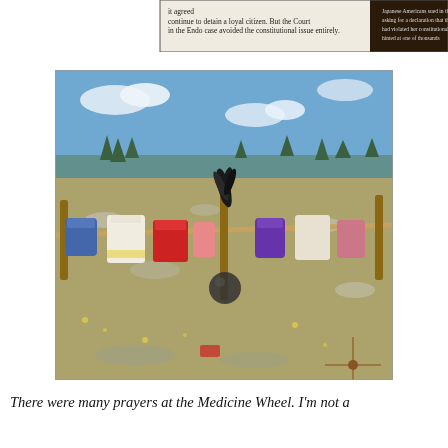[Figure (photo): Partial view of a museum exhibit panel showing text about Japanese American internment and the Endo case, with black and reddish-brown background banner.]
[Figure (photo): Outdoor photograph at the Medicine Wheel site showing colorful prayer offerings — clothes and fabric items — hanging on a rope strung between posts, on an open rocky plateau under a blue sky with scattered clouds and distant evergreen trees.]
There were many prayers at the Medicine Wheel. I'm not a